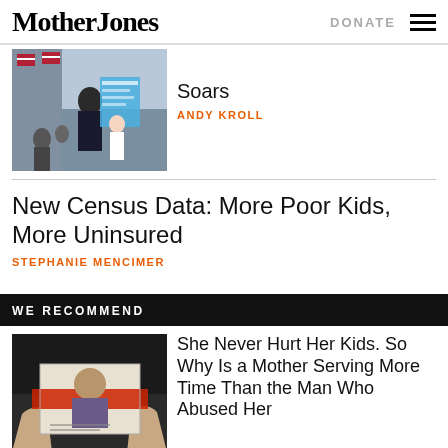Mother Jones | DONATE
[Figure (photo): Photo of a woman with a protest sign in front of American flags]
Soars
ANDY KROLL
New Census Data: More Poor Kids, More Uninsured
STEPHANIE MENCIMER
WE RECOMMEND
[Figure (photo): Hands holding a photograph with a red stripe across it]
She Never Hurt Her Kids. So Why Is a Mother Serving More Time Than the Man Who Abused Her